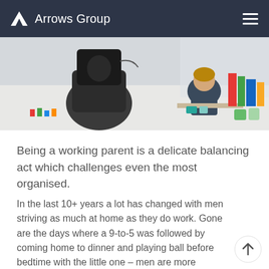Arrows Group
[Figure (photo): Two people sitting at a desk from behind — an adult in a black office chair and a child at a small table, viewed from above in an office/home setting with colorful objects.]
Being a working parent is a delicate balancing act which challenges even the most organised.
In the last 10+ years a lot has changed with men striving as much at home as they do work. Gone are the days where a 9-to-5 was followed by coming home to dinner and playing ball before bedtime with the little one – men are more actively involved at home than ever before, cooking meals, doing laundry and generally having more quality family time.
Research from Open Mind Strategy about health and wellness goals for men and women at different life